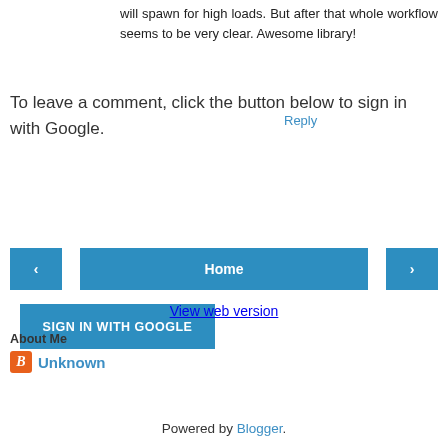will spawn for high loads. But after that whole workflow seems to be very clear. Awesome library!
Reply
To leave a comment, click the button below to sign in with Google.
SIGN IN WITH GOOGLE
[Figure (other): Navigation bar with left arrow button, Home button, and right arrow button]
View web version
About Me
Unknown
View my complete profile
Powered by Blogger.